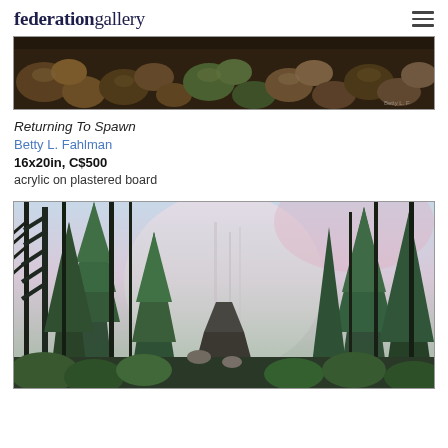federationgallery
[Figure (photo): Painting of river rocks/stones close-up, part of artwork 'Returning To Spawn']
Returning To Spawn
Betty L. Fahlman
16x20in, C$500
acrylic on plastered board
[Figure (photo): Painting of a misty forest path with tall evergreen trees and soft light in the background]